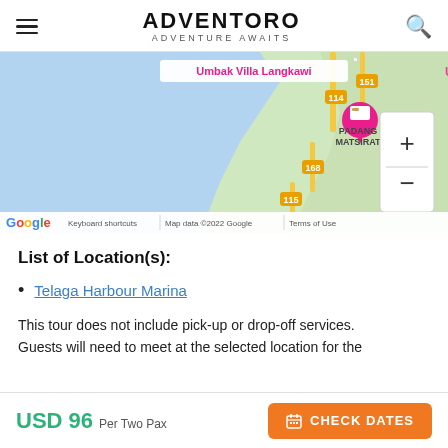ADVENTORO ADVENTURE AWAITS
[Figure (map): Google Maps screenshot showing Langkawi area with Umbak Villa Langkawi marker, Padang Matsirat label, road numbers 114, 151, 168, 115, zoom controls (+/-), and Google branding with Keyboard shortcuts, Map data ©2022 Google, Terms of Use at the bottom.]
List of Location(s):
Telaga Harbour Marina
This tour does not include pick-up or drop-off services. Guests will need to meet at the selected location for the
USD 96 Per Two Pax  CHECK DATES